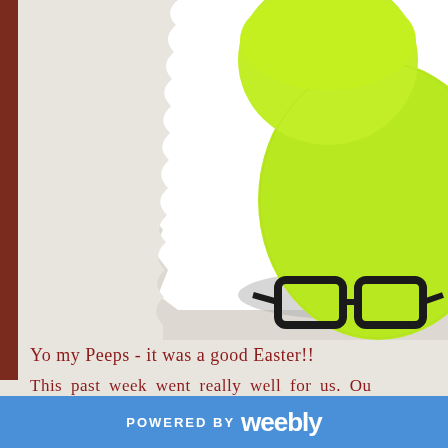[Figure (photo): Close-up photo of a yellow-green Peeps marshmallow chick with black drawn-on glasses, shown on a white background with torn paper edge effect. A brown vertical bar is on the left edge.]
Yo my Peeps - it was a good Easter!!
This past week went really well for us.  Ou
POWERED BY weebly